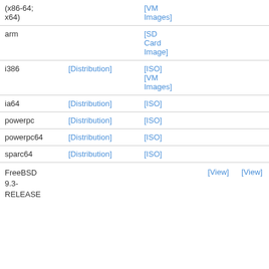| (x86-64; x64) |  | [VM Images] |
| arm |  | [SD Card Image] |
| i386 | [Distribution] | [ISO] [VM Images] |
| ia64 | [Distribution] | [ISO] |
| powerpc | [Distribution] | [ISO] |
| powerpc64 | [Distribution] | [ISO] |
| sparc64 | [Distribution] | [ISO] |
| FreeBSD 9.3-RELEASE |  |  | [View] | [View] | [View] | [View] |